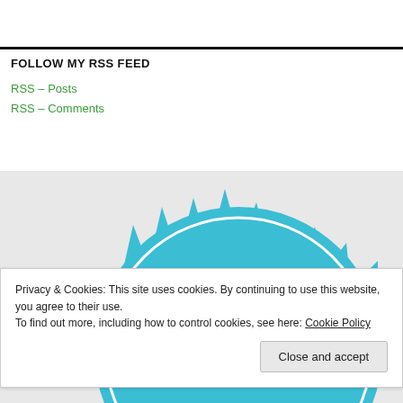FOLLOW MY RSS FEED
RSS – Posts
RSS – Comments
[Figure (illustration): Partial view of a teal/cyan sunburst or badge-style circular graphic on a light grey background]
Privacy & Cookies: This site uses cookies. By continuing to use this website, you agree to their use.
To find out more, including how to control cookies, see here: Cookie Policy
Close and accept